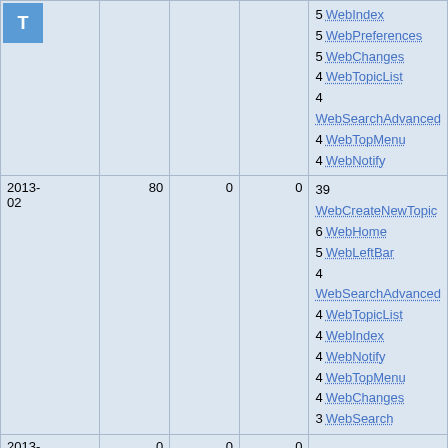|  |  |  |  |  |
| --- | --- | --- | --- | --- |
|  |  |  |  | 5 WebIndex
5 WebPreferences
5 WebChanges
4 WebTopicList
4 WebSearchAdvanced
4 WebTopMenu
4 WebNotify |
| 2013-02 | 80 | 0 | 0 | 39 WebCreateNewTopic
6 WebHome
5 WebLeftBar
4 WebSearchAdvanced
4 WebTopicList
4 WebIndex
4 WebNotify
4 WebTopMenu
4 WebChanges
3 WebSearch |
| 2013-01 | 0 | 0 | 0 |  |
| 2012-12 | 0 | 0 | 0 |  |